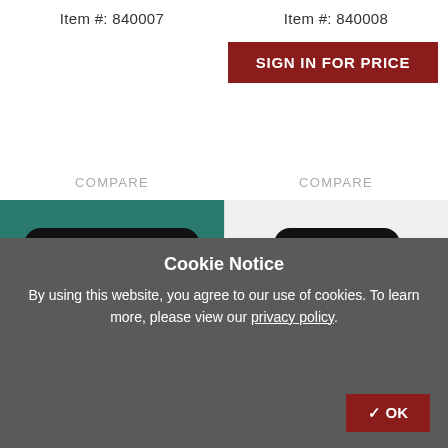Item #: 840007
Item #: 840008
SIGN IN FOR PRICE
COMPARE
COMPARE
[Figure (photo): Teal/green textured leather swatch with 'NO LONGER AVAILABLE' badge]
[Figure (photo): Light grey/white swatch with 'LIMITED STOCK' badge]
Cookie Notice
By using this website, you agree to our use of cookies. To learn more, please view our privacy policy.
✔ OK